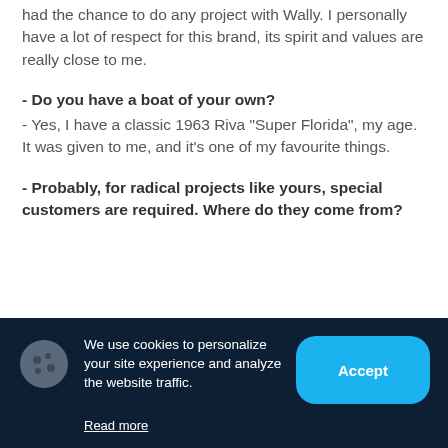had the chance to do any project with Wally. I personally have a lot of respect for this brand, its spirit and values are really close to me.
- Do you have a boat of your own? - Yes, I have a classic 1963 Riva "Super Florida", my age. It was given to me, and it's one of my favourite things.
- Probably, for radical projects like yours, special customers are required. Where do they come from?
We use cookies to personalize your site experience and analyze the website traffic.
Read more